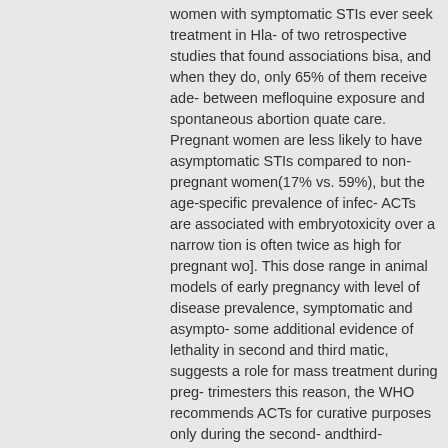women with symptomatic STIs ever seek treatment in Hla- of two retrospective studies that found associations bisa, and when they do, only 65% of them receive ade- between mefloquine exposure and spontaneous abortion quate care. Pregnant women are less likely to have asymptomatic STIs compared to non-pregnant women(17% vs. 59%), but the age-specific prevalence of infec- ACTs are associated with embryotoxicity over a narrow tion is often twice as high for pregnant wo]. This dose range in animal models of early pregnancy with level of disease prevalence, symptomatic and asympto- some additional evidence of lethality in second and third matic, suggests a role for mass treatment during preg- trimesters this reason, the WHO recommends ACTs for curative purposes only during the second- andthird-trimesters if other treatments have been considered The presumptive treatment of STIs in pregnancy improved unsuitable. First-trimester administration is contraindi- maternal health and birth outcomes in a randomized clin- cated unless treatment is considered life-saving for the ical trial involving